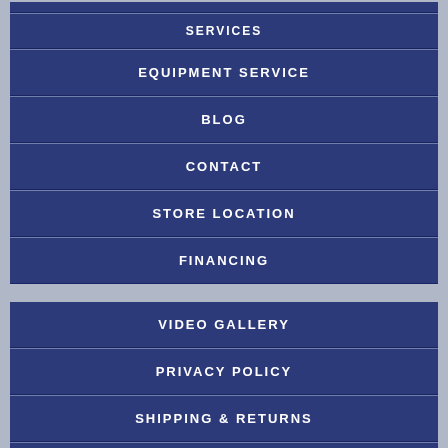SERVICES
EQUIPMENT SERVICE
BLOG
CONTACT
STORE LOCATION
FINANCING
VIDEO GALLERY
PRIVACY POLICY
SHIPPING & RETURNS
TERMS AND CONDITIONS
DISCLAIMER
SITEMAP